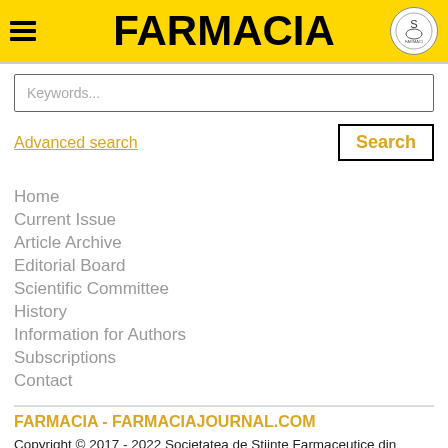FARMACIA
Keywords...
Advanced search
Search
Home
Current Issue
Article Archive
Editorial Board
Scientific Committee
History
Information for Authors
Subscriptions
Contact
FARMACIA - FARMACIAJOURNAL.COM
Copyright © 2017 - 2022 Societatea de Științe Farmaceutice din